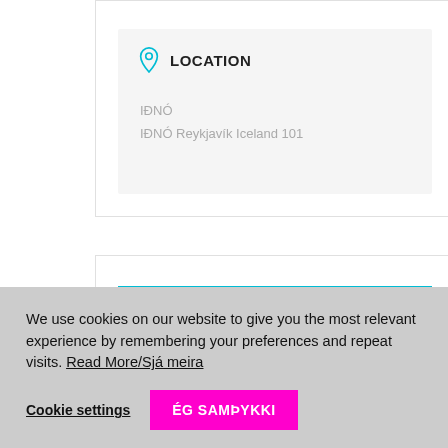LOCATION
IÐNÓ
IÐNÓ Reykjavík Iceland 101
+ Add to Google Calendar
We use cookies on our website to give you the most relevant experience by remembering your preferences and repeat visits. Read More/Sjá meira
Cookie settings
ÉG SAMÞYKKI